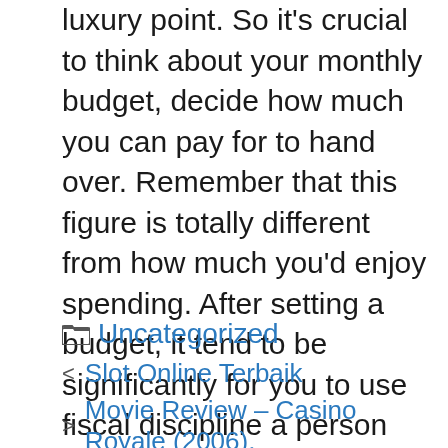luxury point. So it's crucial to think about your monthly budget, decide how much you can pay for to hand over. Remember that this figure is totally different from how much you'd enjoy spending. After setting a budget, it tend to be significantly for you to use fiscal discipline a person shop to obtain a football room table. Otherwise, you could end up spending many more than a person are actually have the funds. While not every football table is alike, these above tips will can help to find engineered so you like that fits large of your room and spending budget.
Uncategorized
< Slot Online Terbaik
> Movie Review – Casino Royale (2006),